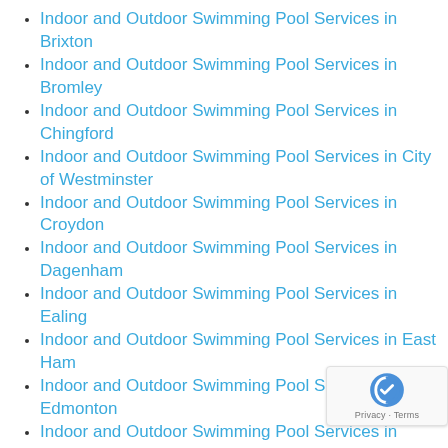Indoor and Outdoor Swimming Pool Services in Brixton
Indoor and Outdoor Swimming Pool Services in Bromley
Indoor and Outdoor Swimming Pool Services in Chingford
Indoor and Outdoor Swimming Pool Services in City of Westminster
Indoor and Outdoor Swimming Pool Services in Croydon
Indoor and Outdoor Swimming Pool Services in Dagenham
Indoor and Outdoor Swimming Pool Services in Ealing
Indoor and Outdoor Swimming Pool Services in East Ham
Indoor and Outdoor Swimming Pool Services in Edmonton
Indoor and Outdoor Swimming Pool Services in Enfield